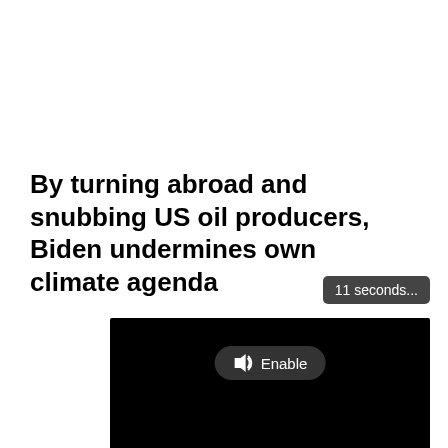By turning abroad and snubbing US oil producers, Biden undermines own climate agenda
[Figure (screenshot): A video player screenshot showing a black video area with a speaker/sound 'Enable' button in the center and a 'Loading' indicator with dots at the bottom left. A tooltip above reads '11 seconds...']